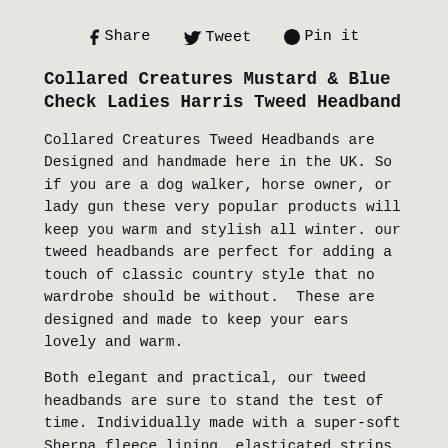f Share   y Tweet   p Pin it
Collared Creatures Mustard & Blue Check Ladies Harris Tweed Headband
Collared Creatures Tweed Headbands are Designed and handmade here in the UK. So if you are a dog walker, horse owner, or lady gun these very popular products will keep you warm and stylish all winter. our tweed headbands are perfect for adding a touch of classic country style that no wardrobe should be without.  These are designed and made to keep your ears lovely and warm.
Both elegant and practical, our tweed headbands are sure to stand the test of time. Individually made with a super-soft Sherpa fleece lining, elasticated strips at the back to allow for a snug fit and available to match all the tweeds we presently use for our dog collars and leads, so these are a perfect accessory to add to your collection making both your beloved dog and yourself